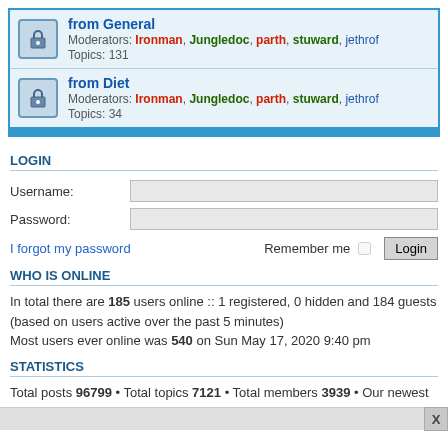from General
Moderators: Ironman, Jungledoc, parth, stuward, jethrof
Topics: 131
from Diet
Moderators: Ironman, Jungledoc, parth, stuward, jethrof
Topics: 34
LOGIN
Username:
Password:
I forgot my password   Remember me  Login
WHO IS ONLINE
In total there are 185 users online :: 1 registered, 0 hidden and 184 guests (based on users active over the past 5 minutes)
Most users ever online was 540 on Sun May 17, 2020 9:40 pm
STATISTICS
Total posts 96799 • Total topics 7121 • Total members 3939 • Our newest member AlexAmazing